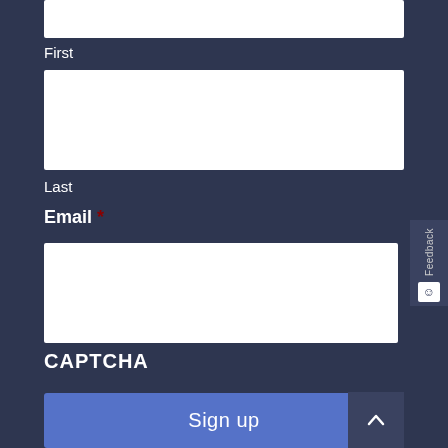First
Last
Email *
CAPTCHA
Sign up
Feedback